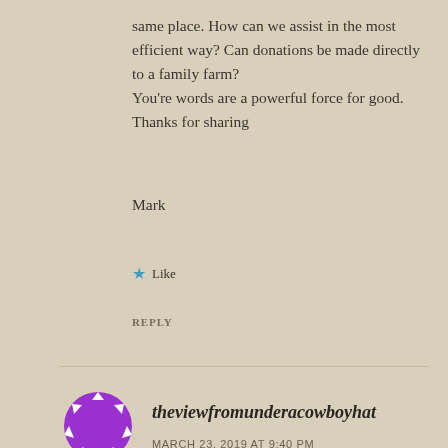same place. How can we assist in the most efficient way? Can donations be made directly to a family farm?
You're words are a powerful force for good. Thanks for sharing
Mark
★ Like
REPLY
[Figure (illustration): Purple spiky circle avatar icon for user theviewfromunderacowboyhat]
theviewfromunderacowboyhat
MARCH 23, 2019 AT 9:40 PM